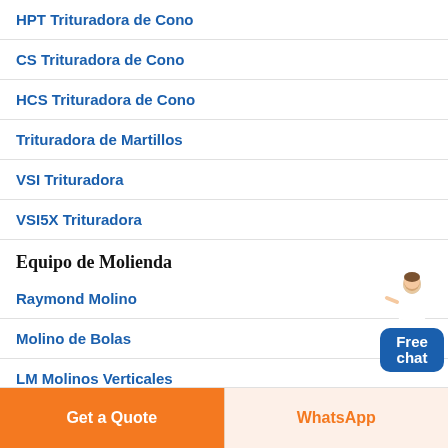HPT Trituradora de Cono
CS Trituradora de Cono
HCS Trituradora de Cono
Trituradora de Martillos
VSI Trituradora
VSI5X Trituradora
Equipo de Molienda
Raymond Molino
Molino de Bolas
LM Molinos Verticales
LUM Series de Molino Ultrafino Vertical de Rodillos
Get a Quote
WhatsApp